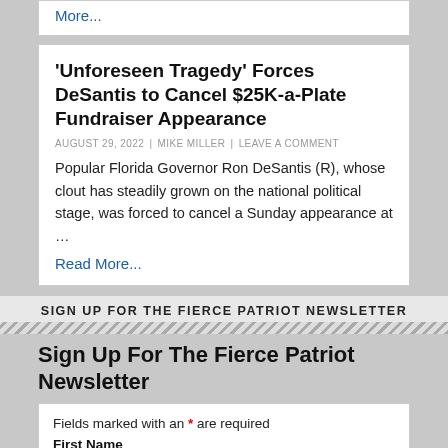More...
'Unforeseen Tragedy' Forces DeSantis to Cancel $25K-a-Plate Fundraiser Appearance
AUGUST 29, 2022 | MIKE MILLER | LEAVE A COMMENT
Popular Florida Governor Ron DeSantis (R), whose clout has steadily grown on the national political stage, was forced to cancel a Sunday appearance at …
Read More...
SIGN UP FOR THE FIERCE PATRIOT NEWSLETTER
Sign Up For The Fierce Patriot Newsletter
Fields marked with an * are required
First Name